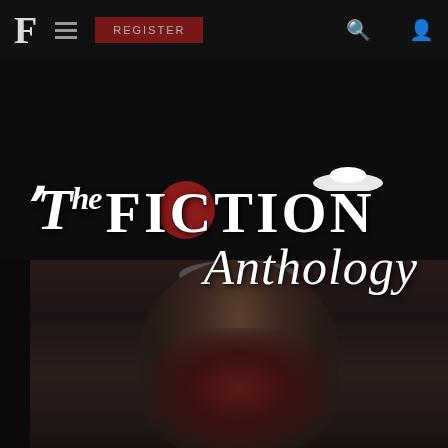F  ≡  REGISTER  🔍  👤
[Figure (illustration): The Fiction Anthology logo/title treatment overlaid on a dark background with a faded photo of a person wearing a cap. The title shows 'The Fiction Anthology' in decorative serif and italic fonts with a red circle accent behind the letter 'O' in FICTION and a white UFO/saucer shape above the text.]
The Fiction Anthology